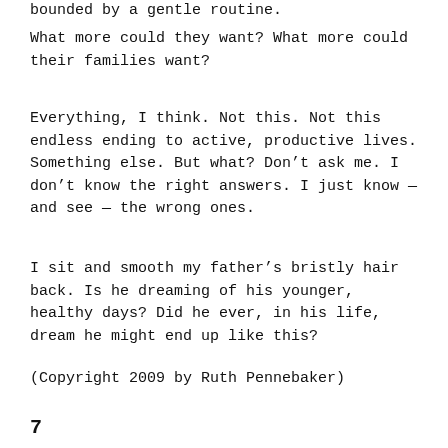bounded by a gentle routine.
What more could they want?  What more could their families want?
Everything, I think.  Not this.  Not this endless ending to active, productive lives.  Something else.  But what?  Don’t ask me.  I don’t know the right answers.  I just know — and see — the wrong ones.
I sit and smooth my father’s bristly hair back.  Is he dreaming of his younger, healthy days?  Did he ever, in his life, dream he might end up like this?
(Copyright 2009 by Ruth Pennebaker)
7